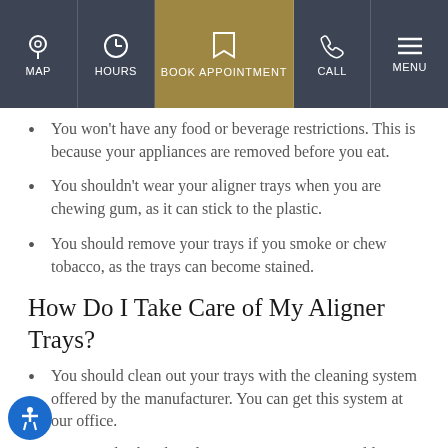MAP | HOURS | BOOK APPOINTMENT | CALL | MENU
You won't have any food or beverage restrictions. This is because your appliances are removed before you eat.
You shouldn't wear your aligner trays when you are chewing gum, as it can stick to the plastic.
You should remove your trays if you smoke or chew tobacco, as the trays can become stained.
How Do I Take Care of My Aligner Trays?
You should clean out your trays with the cleaning system offered by the manufacturer. You can get this system at our office.
You can also brush and rinse out your trays in cold or